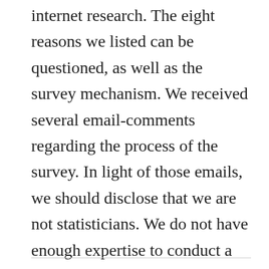internet research. The eight reasons we listed can be questioned, as well as the survey mechanism. We received several email-comments regarding the process of the survey. In light of those emails, we should disclose that we are not statisticians. We do not have enough expertise to conduct a systematic survey. This survey was just our small effort to add a drop of water in the big ocean of efforts made by the Government and academia to encourage women in STEM.